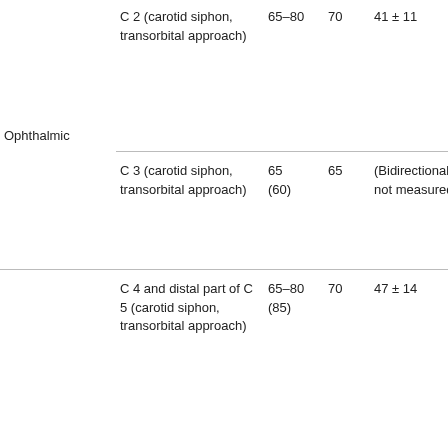|  | Artery/Approach | Freq Range | Freq Typical | Value | Notes (truncated) |
| --- | --- | --- | --- | --- | --- |
| Ophthalmic | C 2 (carotid siphon, transorbital approach) | 65–80 | 70 | 41 ± 11 | ang... bea... awa... bea... awa... pro... ins... dep... |
|  | C 3 (carotid siphon, transorbital approach) | 65 (60) | 65 | (Bidirectional, not measured) | Bid... sig... ang... bea... ins... dep... |
|  | C 4 and distal part of C 5 (carotid siphon, transorbital approach) | 65–80 (85) | 70 | 47 ± 14 | Sag... slig... ano... ang... bea... tow... ins... |